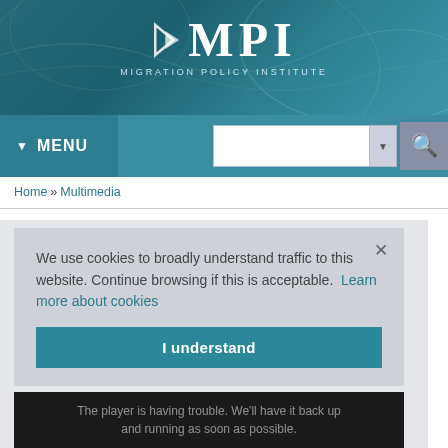[Figure (logo): Migration Policy Institute (MPI) logo — white arrow graphic and MPI text in white serif font on teal/blue-green gradient background with faint world map outline]
[Figure (screenshot): Navigation bar with teal background, MENU button on left with dropdown arrow, search input box and magnifying glass icon on right]
Home » Multimedia
Potential Reforms to the U.S. Refugee Resettlement Program
We use cookies to broadly understand traffic to this website. Continue browsing if this is acceptable.  Learn more about cookies
I understand
The player is having trouble. We'll have it back up and running as soon as possible.